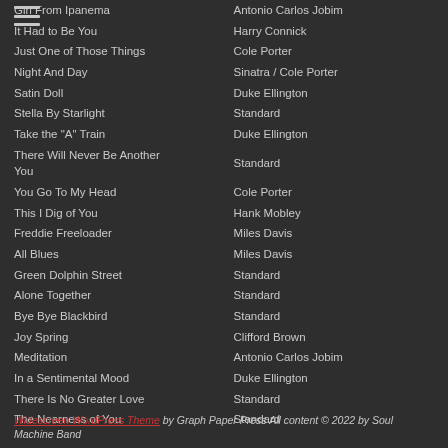Girl From Ipanema | Antonio Carlos Jobim
It Had to Be You | Harry Connick
Just One of Those Things | Cole Porter
Night And Day | Sinatra / Cole Porter
Satin Doll | Duke Ellington
Stella By Starlight | Standard
Take the "A" Train | Duke Ellington
There Will Never Be Another You | Standard
You Go To My Head | Cole Porter
This I Dig of You | Hank Mobley
Freddie Freeloader | Miles Davis
All Blues | Miles Davis
Green Dolphin Street | Standard
Alone Together | Standard
Bye Bye Blackbird | Standard
Joy Spring | Clifford Brown
Meditation | Antonio Carlos Jobim
In a Sentimental Mood | Duke Ellington
There Is No Greater Love | Standard
The Nearness of You | Standard
Widescreen WordPress Theme by Graph Paper Press All content © 2022 by Soul Machine Band